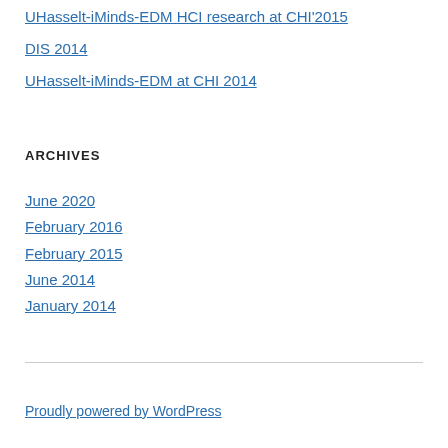UHasselt-iMinds-EDM HCI research at CHI'2015
DIS 2014
UHasselt-iMinds-EDM at CHI 2014
ARCHIVES
June 2020
February 2016
February 2015
June 2014
January 2014
Proudly powered by WordPress